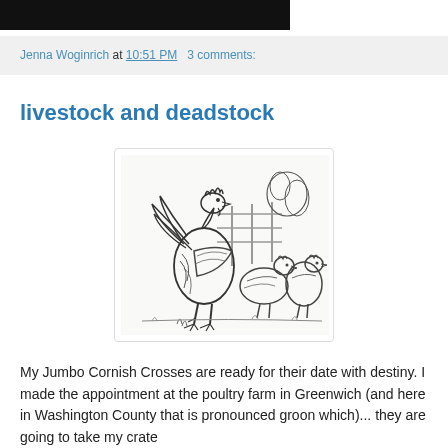[Figure (photo): Dark/black image bar at top of page, partial image of a blog header]
Jenna Woginrich at 10:51 PM   3 comments:
livestock and deadstock
[Figure (illustration): Vintage black and white engraving illustration of roosters and hens, a large rooster in the center with two hens beside it, with a fence in the background]
My Jumbo Cornish Crosses are ready for their date with destiny. I made the appointment at the poultry farm in Greenwich (and here in Washington County that is pronounced groon which)... they are going to take my crate